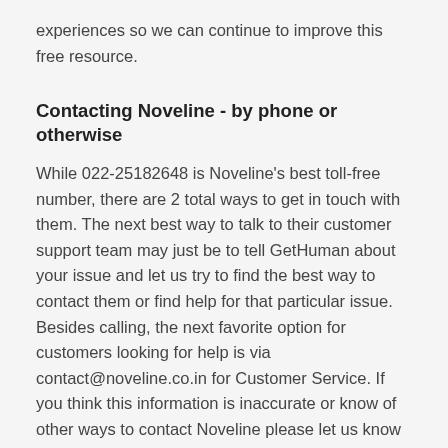experiences so we can continue to improve this free resource.
Contacting Noveline - by phone or otherwise
While 022-25182648 is Noveline's best toll-free number, there are 2 total ways to get in touch with them. The next best way to talk to their customer support team may just be to tell GetHuman about your issue and let us try to find the best way to contact them or find help for that particular issue. Besides calling, the next favorite option for customers looking for help is via contact@noveline.co.in for Customer Service. If you think this information is inaccurate or know of other ways to contact Noveline please let us know so we can share with other